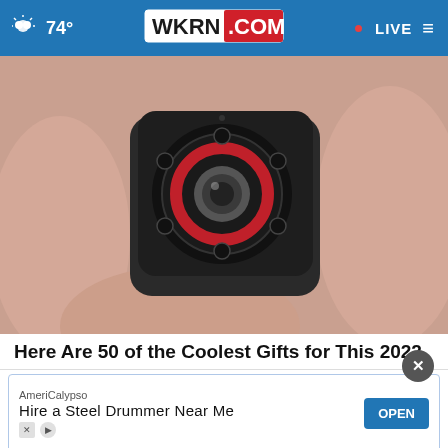74° WKRN.COM • LIVE
[Figure (photo): Close-up photo of a tiny black spy camera (mini cube HD camera) held between fingers. The camera has a circular lens with red printed text around it and several small black LED dots.]
Here Are 50 of the Coolest Gifts for This 2022
Smart Lifestyle Trends
[Figure (screenshot): Advertisement banner: AmeriCalypso - Hire a Steel Drummer Near Me, with OPEN button and X/play icons]
[Figure (photo): Partial view of a second article image showing an outdoor scene with green landscape]